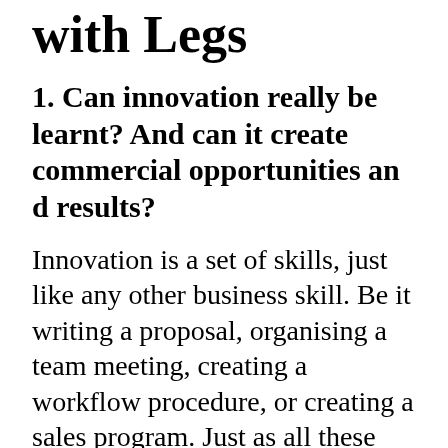with Legs
1. Can innovation really be learnt? And can it create commercial opportunities and results?
Innovation is a set of skills, just like any other business skill. Be it writing a proposal, organising a team meeting, creating a workflow procedure, or creating a sales program. Just as all these